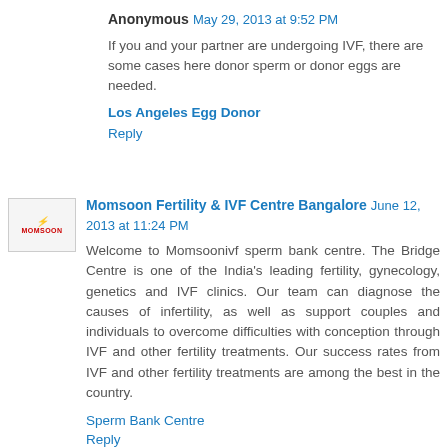Anonymous May 29, 2013 at 9:52 PM
If you and your partner are undergoing IVF, there are some cases here donor sperm or donor eggs are needed.
Los Angeles Egg Donor
Reply
Momsoon Fertility & IVF Centre Bangalore June 12, 2013 at 11:24 PM
Welcome to Momsoonivf sperm bank centre. The Bridge Centre is one of the India's leading fertility, gynecology, genetics and IVF clinics. Our team can diagnose the causes of infertility, as well as support couples and individuals to overcome difficulties with conception through IVF and other fertility treatments. Our success rates from IVF and other fertility treatments are among the best in the country.
Sperm Bank Centre
Reply